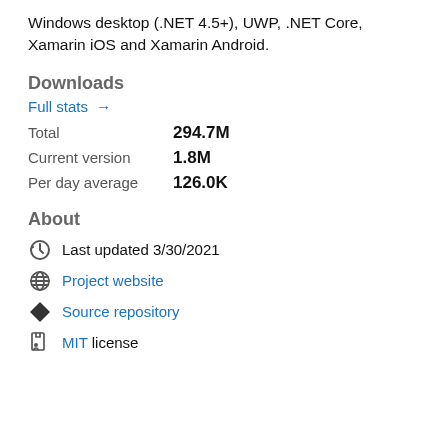Windows desktop (.NET 4.5+), UWP, .NET Core, Xamarin iOS and Xamarin Android.
Downloads
Full stats →
Total   294.7M
Current version   1.8M
Per day average   126.0K
About
Last updated 3/30/2021
Project website
Source repository
MIT license